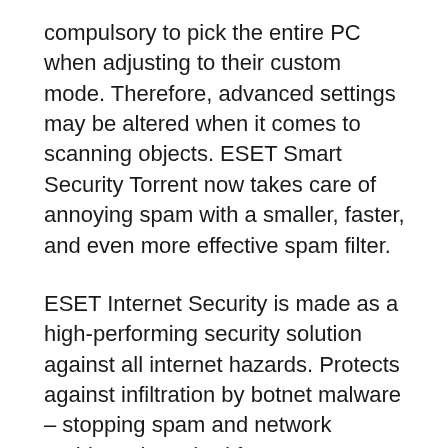compulsory to pick the entire PC when adjusting to their custom mode. Therefore, advanced settings may be altered when it comes to scanning objects. ESET Smart Security Torrent now takes care of annoying spam with a smaller, faster, and even more effective spam filter.
ESET Internet Security is made as a high-performing security solution against all internet hazards. Protects against infiltration by botnet malware – stopping spam and network problems launched from your personal computer. By using ESET Network Detections, obstructing harmful traffic is done even more quickly. Detects harmful JavaScripts that can assault your web browser and problems with destructive scripts that make an effort to exploit Glass Windows PowerShell. Deep router trials